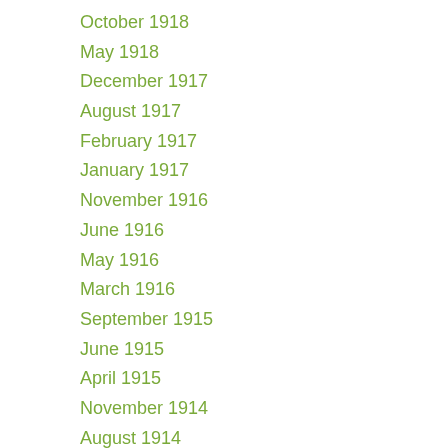October 1918
May 1918
December 1917
August 1917
February 1917
January 1917
November 1916
June 1916
May 1916
March 1916
September 1915
June 1915
April 1915
November 1914
August 1914
April 1914
March 1914